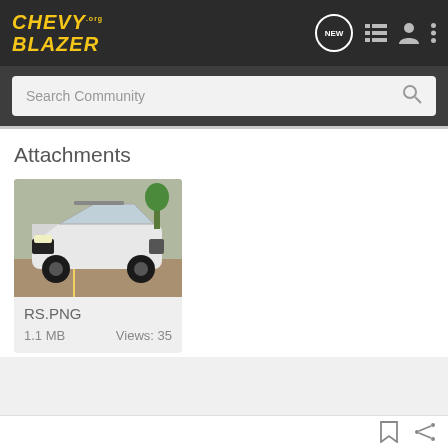CHEVY.org BLAZER
Attachments
[Figure (photo): White Chevrolet Blazer RS SUV photographed in a parking lot, front 3/4 view with black wheels]
RS.PNG
1.1 MB   Views: 35
[Figure (photo): Nitto ALL-NEW NOMAD GRAPPLER CROSSOVER-TERRAIN TIRE advertisement banner showing tire closeup]